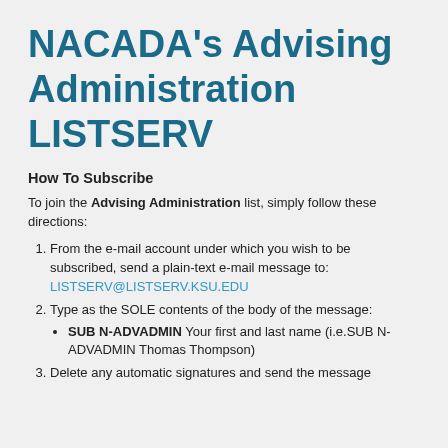NACADA's Advising Administration LISTSERV
How To Subscribe
To join the Advising Administration list, simply follow these directions:
From the e-mail account under which you wish to be subscribed, send a plain-text e-mail message to: LISTSERV@LISTSERV.KSU.EDU
Type as the SOLE contents of the body of the message: SUB N-ADVADMIN Your first and last name (i.e.SUB N-ADVADMIN Thomas Thompson)
Delete any automatic signatures and send the message